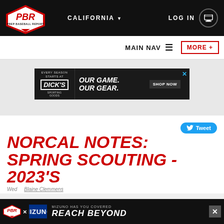CALIFORNIA  LOG IN
MAIN NAV  MORE +
[Figure (screenshot): Dick's Sporting Goods advertisement banner: OUR GAME. OUR GEAR. SHOP NOW]
[Figure (screenshot): Tweet button (blue rounded button with bird icon)]
NORCAL NOTES: SPRING SCOUTING - 2023'S
Wed    Blaine Clemmens
[Figure (screenshot): PBR x Mizuno advertisement: MIZUNO HAS YOU COVERED REACH BEYOND]